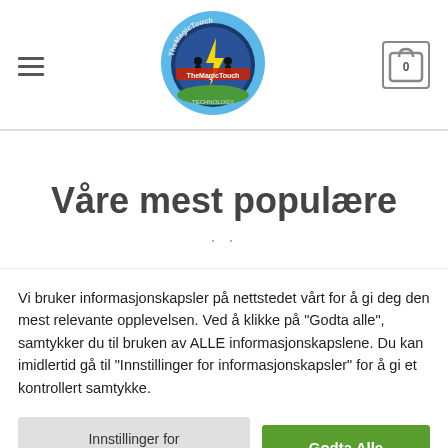[Figure (logo): TheMagicTouch logo — circular badge with figure silhouette and lightning bolt]
Våre mest populære
Vi bruker informasjonskapsler på nettstedet vårt for å gi deg den mest relevante opplevelsen. Ved å klikke på "Godta alle", samtykker du til bruken av ALLE informasjonskapslene. Du kan imidlertid gå til "Innstillinger for informasjonskapsler" for å gi et kontrollert samtykke.
Innstillinger for informasjonskapsler
Godta Alle